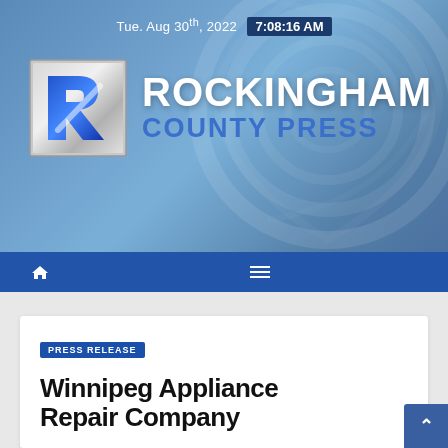Tue. Aug 30th, 2022  7:08:16 AM
[Figure (logo): Rockingham County Press logo with blue metallic R icon and bold white ROCKINGHAM / blue COUNTY PRESS text on blue gradient banner background]
PRESS RELEASE
Winnipeg Appliance Repair Company